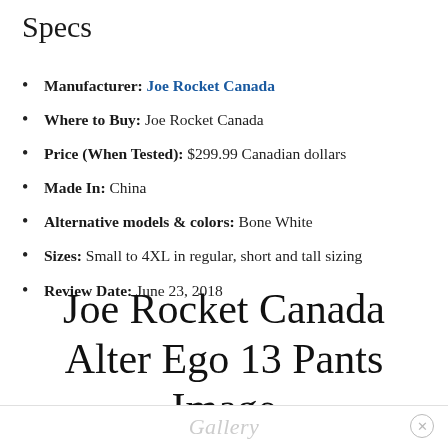Specs
Manufacturer: Joe Rocket Canada
Where to Buy: Joe Rocket Canada
Price (When Tested): $299.99 Canadian dollars
Made In: China
Alternative models & colors: Bone White
Sizes: Small to 4XL in regular, short and tall sizing
Review Date: June 23, 2018
Joe Rocket Canada Alter Ego 13 Pants Image
Gallery